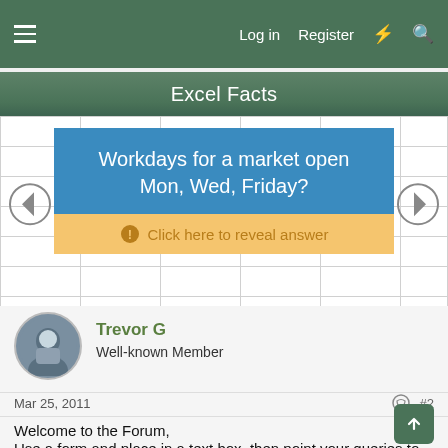Log in  Register
Excel Facts
[Figure (infographic): Excel fact card asking 'Workdays for a market open Mon, Wed, Friday?' with a blue background and an orange 'Click here to reveal answer' button, flanked by left and right navigation arrows on a spreadsheet grid background.]
Trevor G
Well-known Member
Mar 25, 2011
#2
Welcome to the Forum,
Use a form and place in a text box, then point your queries to the text box for the parameters, then add a command button to